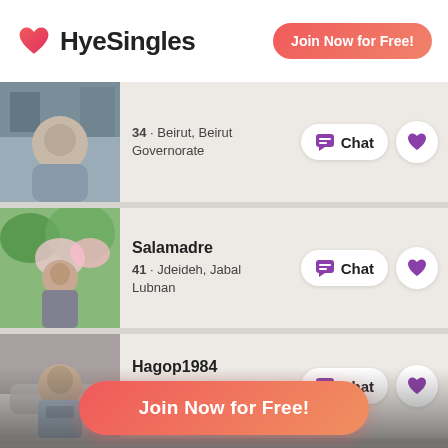[Figure (logo): HyeSingles logo with red heart icon and bold text]
Join Now for Free!
[Figure (photo): Profile photo of man, age 34, Beirut]
34 · Beirut, Beirut Governorate
[Figure (photo): Profile photo of woman named Salamadre, age 41]
Salamadre
41 · Jdeideh, Jabal Lubnan
[Figure (photo): Profile photo of man named Hagop1984, age 38]
Hagop1984
38 · بيروت, محافظة بيروت
Join Now for Free!